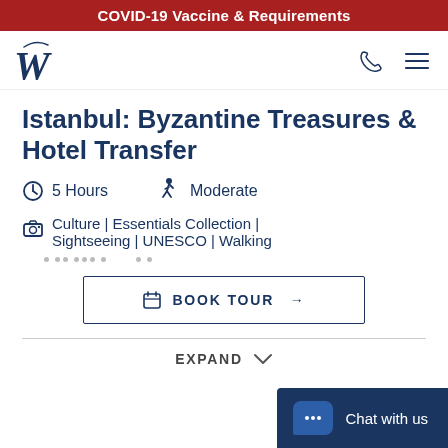COVID-19 Vaccine & Requirements
Istanbul: Byzantine Treasures & Hotel Transfer
5 Hours   Moderate
Culture | Essentials Collection | Sightseeing | UNESCO | Walking
BOOK TOUR →
EXPAND